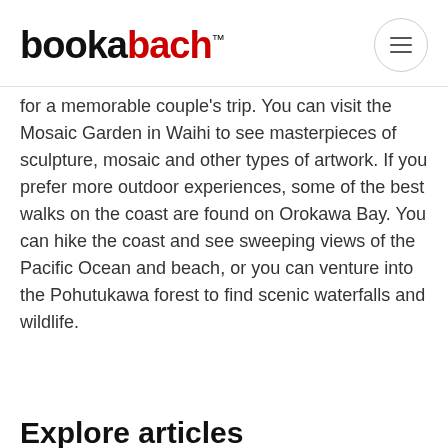bookabach™
for a memorable couple's trip. You can visit the Mosaic Garden in Waihi to see masterpieces of sculpture, mosaic and other types of artwork. If you prefer more outdoor experiences, some of the best walks on the coast are found on Orokawa Bay. You can hike the coast and see sweeping views of the Pacific Ocean and beach, or you can venture into the Pohutukawa forest to find scenic waterfalls and wildlife.
Explore articles